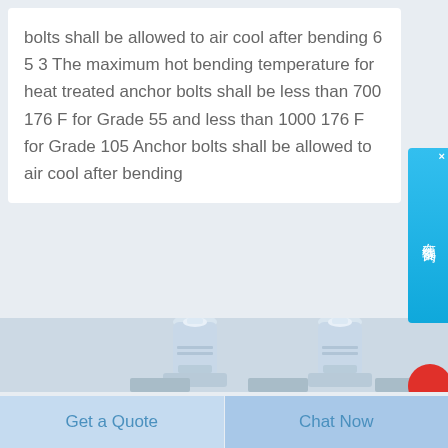bolts shall be allowed to air cool after bending 6 5 3 The maximum hot bending temperature for heat treated anchor bolts shall be less than 700 176 F for Grade 55 and less than 1000 176 F for Grade 105 Anchor bolts shall be allowed to air cool after bending
[Figure (illustration): 3D rendered illustration of two anchor bolts side by side, light grey/blue color, with threaded ends and flanged bases, partially showing a bracket/plate assembly at the bottom, and a red circular element at far right edge.]
Get a Quote
Chat Now